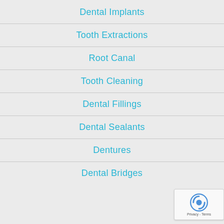Dental Implants
Tooth Extractions
Root Canal
Tooth Cleaning
Dental Fillings
Dental Sealants
Dentures
Dental Bridges